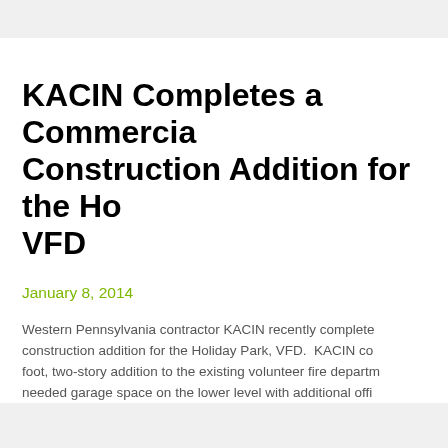KACIN Completes a Commercial Construction Addition for the Holiday Park VFD
January 8, 2014
Western Pennsylvania contractor KACIN recently completed a construction addition for the Holiday Park, VFD. KACIN completed a square foot, two-story addition to the existing volunteer fire department, providing needed garage space on the lower level with additional office and meeting areas on the second floor. Holiday Park, VFD commercial c...
Continue Reading